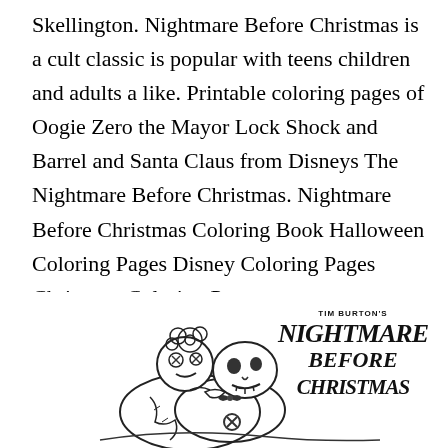Skellington. Nightmare Before Christmas is a cult classic is popular with teens children and adults a like. Printable coloring pages of Oogie Zero the Mayor Lock Shock and Barrel and Santa Claus from Disneys The Nightmare Before Christmas. Nightmare Before Christmas Coloring Book Halloween Coloring Pages Disney Coloring Pages Christmas Coloring Pages.
[Figure (illustration): Black and white coloring page illustration showing characters from The Nightmare Before Christmas (Jack Skellington and Sally embracing), with the stylized 'Tim Burton's Nightmare Before Christmas' logo in the upper right corner.]